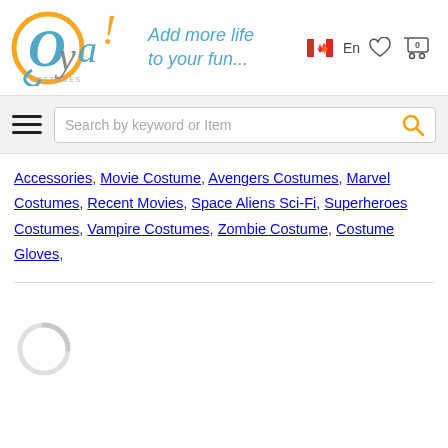[Figure (logo): Oya Costumes logo with tagline 'Add more life to your fun...' and Canadian flag, language selector En, heart icon, and cart icon with 0]
[Figure (other): Search bar with hamburger menu icon and magnifying glass search button]
Accessories, Movie Costume, Avengers Costumes, Marvel Costumes, Recent Movies, Space Aliens Sci-Fi, Superheroes Costumes, Vampire Costumes, Zombie Costume, Costume Gloves,
[Figure (other): Loading spinner circle]